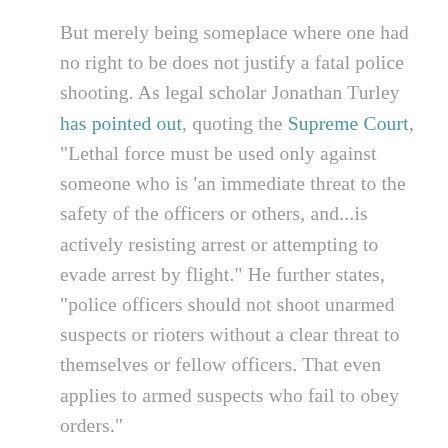But merely being someplace where one had no right to be does not justify a fatal police shooting. As legal scholar Jonathan Turley has pointed out, quoting the Supreme Court, "Lethal force must be used only against someone who is 'an immediate threat to the safety of the officers or others, and...is actively resisting arrest or attempting to evade arrest by flight." He further states, "police officers should not shoot unarmed suspects or rioters without a clear threat to themselves or fellow officers. That even applies to armed suspects who fail to obey orders."